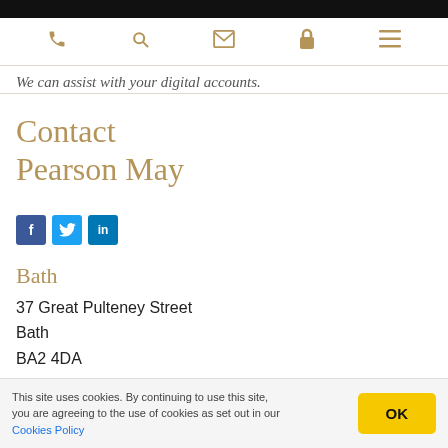We can assist with your digital accounts.
Contact Pearson May
[Figure (infographic): Social media icon buttons: Facebook (f), Twitter (bird), LinkedIn (in)]
Bath
37 Great Pulteney Street
Bath
BA2 4DA
This site uses cookies. By continuing to use this site, you are agreeing to the use of cookies as set out in our Cookies Policy